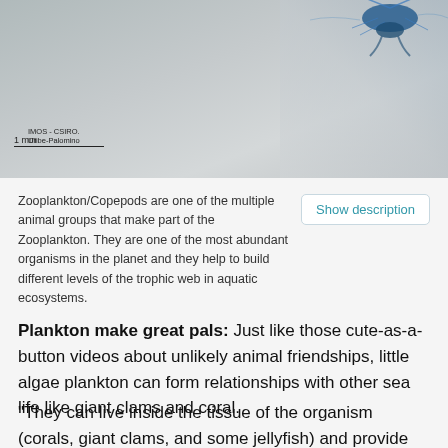[Figure (photo): Microscope image of Zooplankton/Copepod against a grey background, with a 1mm scale bar and credit to IMOS - CSIRO / Uribe-Palomino]
Zooplankton/Copepods are one of the multiple animal groups that make part of the Zooplankton. They are one of the most abundant organisms in the planet and they help to build different levels of the trophic web in aquatic ecosystems.
Plankton make great pals: Just like those cute-as-a-button videos about unlikely animal friendships, little algae plankton can form relationships with other sea life like giant clams and coral.
“They can live inside the tissue of the organism (corals, giant clams, and some jellyfish) and provide them with nutrients that they might be lacking in, this can be